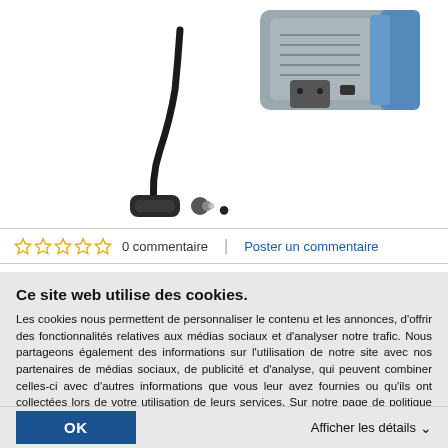[Figure (photo): Product photo of a power inverter device with cigarette lighter plug cable, grey and blue casing, on white background]
●
☆ ☆ ☆ ☆ ☆  0 commentaire  |  Poster un commentaire
Ce site web utilise des cookies.
Les cookies nous permettent de personnaliser le contenu et les annonces, d'offrir des fonctionnalités relatives aux médias sociaux et d'analyser notre trafic. Nous partageons également des informations sur l'utilisation de notre site avec nos partenaires de médias sociaux, de publicité et d'analyse, qui peuvent combiner celles-ci avec d'autres informations que vous leur avez fournies ou qu'ils ont collectées lors de votre utilisation de leurs services. Sur notre page de politique de confidentialité, vous trouverez plus d'informations.
OK
Afficher les détails ∨